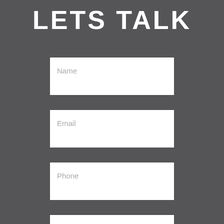LETS TALK
Name
Email
Phone
Message